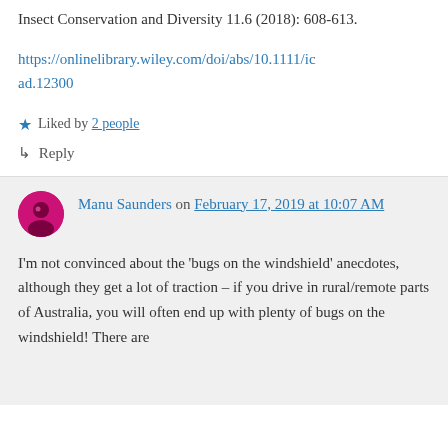Insect Conservation and Diversity 11.6 (2018): 608-613.
https://onlinelibrary.wiley.com/doi/abs/10.1111/icad.12300
★ Liked by 2 people
↳ Reply
Manu Saunders on February 17, 2019 at 10:07 AM
I'm not convinced about the 'bugs on the windshield' anecdotes, although they get a lot of traction – if you drive in rural/remote parts of Australia, you will often end up with plenty of bugs on the windshield! There are